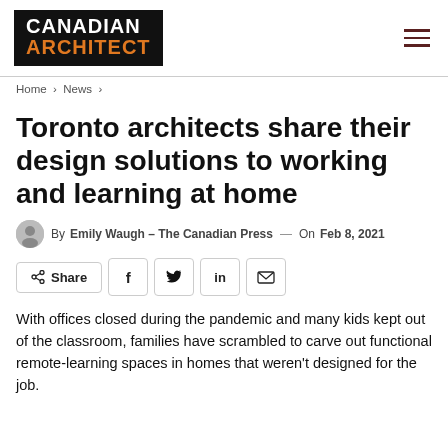CANADIAN ARCHITECT
Home > News >
Toronto architects share their design solutions to working and learning at home
By Emily Waugh - The Canadian Press — On Feb 8, 2021
Share buttons: Share, Facebook, Twitter, LinkedIn, Email
With offices closed during the pandemic and many kids kept out of the classroom, families have scrambled to carve out functional remote-learning spaces in homes that weren't designed for the job.